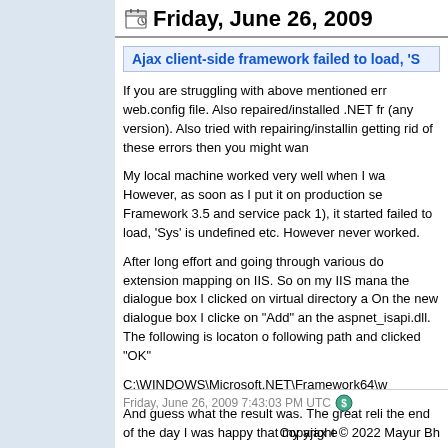Friday, June 26, 2009
Ajax client-side framework failed to load, 'S...
If you are struggling with above mentioned err web.config file. Also repaired/installed .NET fr (any version). Also tried with repairing/installin getting rid of these errors then you might wan
My local machine worked very well when I wa However, as soon as I put it on production se Framework 3.5 and service pack 1), it started failed to load, 'Sys' is undefined etc. However never worked.
After long effort and going through various do extension mapping on IIS. So on my IIS mana the dialogue box I clicked on virtual directory a On the new dialogue box I clicke on "Add" an the aspnet_isapi.dll. The following is locaton o following path and clicked "OK"
C:\WINDOWS\Microsoft.NET\Framework64\w
And guess what the result was. The great reli the end of the day I was happy that my ajax e
I am posting it here and hoping that it might h
Have a great computing!
Friday, June 26, 2009 7:43:03 PM UTC
Copyright © 2022 Mayur Bh